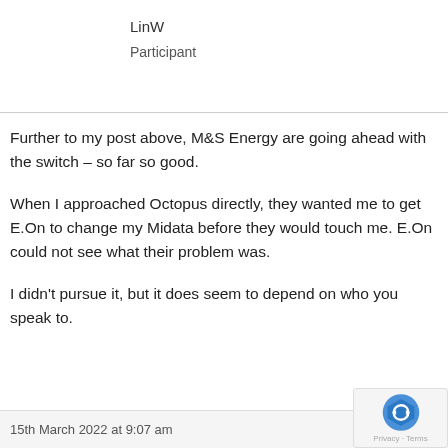LinW
Participant
Further to my post above, M&S Energy are going ahead with the switch – so far so good.
When I approached Octopus directly, they wanted me to get E.On to change my Midata before they would touch me. E.On could not see what their problem was.
I didn't pursue it, but it does seem to depend on who you speak to.
15th March 2022 at 9:07 am  #101